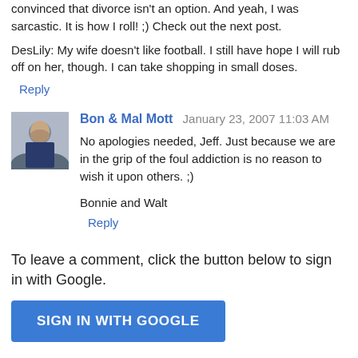convinced that divorce isn't an option. And yeah, I was sarcastic. It is how I roll! ;) Check out the next post.
DesLily: My wife doesn't like football. I still have hope I will rub off on her, though. I can take shopping in small doses.
Reply
Bon & Mal Mott  January 23, 2007 11:03 AM
No apologies needed, Jeff. Just because we are in the grip of the foul addiction is no reason to wish it upon others. ;)
Bonnie and Walt
Reply
To leave a comment, click the button below to sign in with Google.
SIGN IN WITH GOOGLE